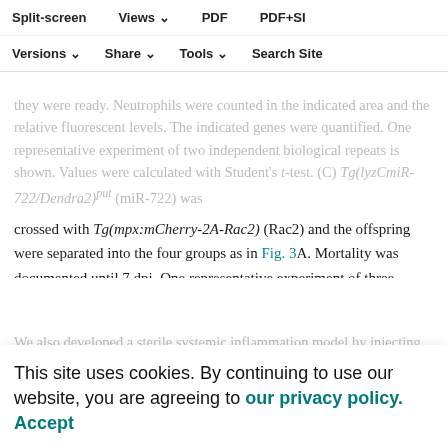Split-screen  Views  PDF  PDF+SI  Versions  Share  Tools  Search Site
they were ready. Neutrophils were counted in the indicated area and the relative fluorescent levels. The indicated genes were quantified. One representative experiment of two independent biological repeats is shown. Values were calculated with Student's t-test. (C) Tg(lyzCmiR-722/Dendra2)put (miR-722) was crossed with Tg(mpx:mCherry-2A-Rac2) (Rac2) and the offspring were separated into the four groups as in Fig. 3A. Mortality was documented until 7 dpi. One representative experiment of three independent biological repeats (n=20 each group) is shown. P values were calculated with the Gehan–Breslow–Wilcoxon test. (H) Relative expression levels of miR-722 before or after intravenous injection with 25 ng of LPS or with 1000 CFU of Pseudomonas; means±s.d. (N=3 biological repeats with 10 larvae at each time point in each group). No statistical differences were found with unpaired one-way ANOVA.
We also developed a sterile systemic inflammation model by injecting lipopolysaccharide (LPS) into the zebrafish intravenously. The vector-control-overexpressing larvae
This site uses cookies. By continuing to use our website, you are agreeing to our privacy policy. Accept